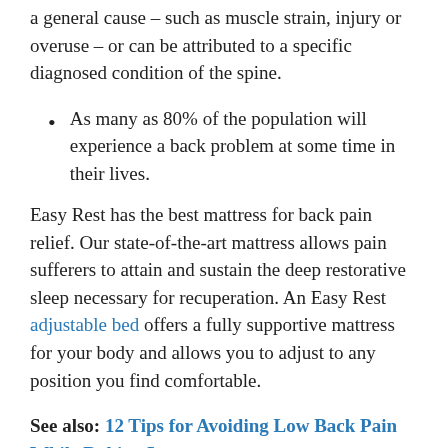a general cause – such as muscle strain, injury or overuse – or can be attributed to a specific diagnosed condition of the spine.
As many as 80% of the population will experience a back problem at some time in their lives.
Easy Rest has the best mattress for back pain relief. Our state-of-the-art mattress allows pain sufferers to attain and sustain the deep restorative sleep necessary for recuperation. An Easy Rest adjustable bed offers a fully supportive mattress for your body and allows you to adjust to any position you find comfortable.
See also: 12 Tips for Avoiding Low Back Pain While Raking Leaves
Doctors recommend back pain sufferers place a pillow